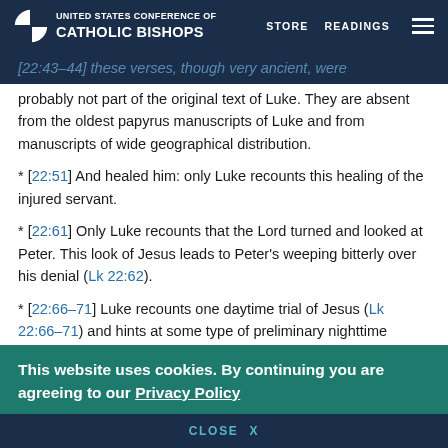UNITED STATES CONFERENCE OF CATHOLIC BISHOPS | STORE | READINGS
[22:43–44] these verses, though very ancient, were probably not part of the original text of Luke. They are absent from the oldest papyrus manuscripts of Luke and from manuscripts of wide geographical distribution.
* [22:51] And healed him: only Luke recounts this healing of the injured servant.
* [22:61] Only Luke recounts that the Lord turned and looked at Peter. This look of Jesus leads to Peter's weeping bitterly over his denial (Lk 22:62).
* [22:66–71] Luke recounts one daytime trial of Jesus (Lk 22:66–71) and hints at some type of preliminary nighttime investigation (Lk 22:54–65). Mark (and
This website uses cookies. By continuing you are agreeing to our Privacy Policy
CLOSE X